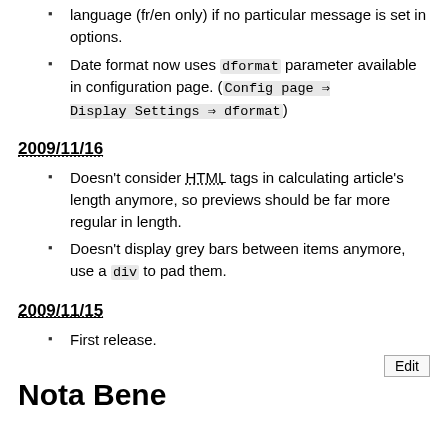language (fr/en only) if no particular message is set in options.
Date format now uses dformat parameter available in configuration page. (Config page ⇒ Display Settings ⇒ dformat)
2009/11/16
Doesn't consider HTML tags in calculating article's length anymore, so previews should be far more regular in length.
Doesn't display grey bars between items anymore, use a div to pad them.
2009/11/15
First release.
Nota Bene